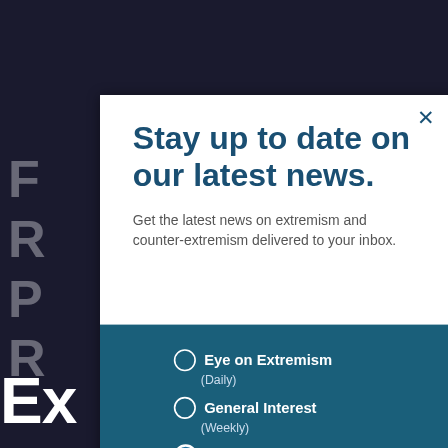Stay up to date on our latest news.
Get the latest news on extremism and counter-extremism delivered to your inbox.
Eye on Extremism (Daily)
General Interest (Weekly)
Both
Email Address